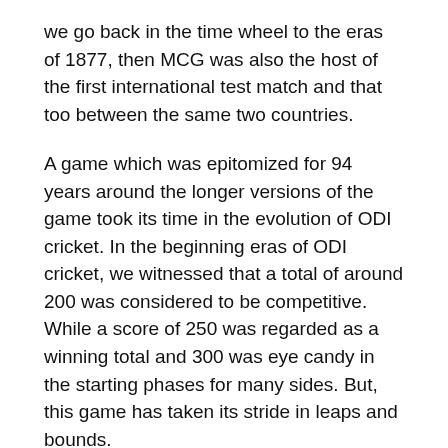we go back in the time wheel to the eras of 1877, then MCG was also the host of the first international test match and that too between the same two countries.
A game which was epitomized for 94 years around the longer versions of the game took its time in the evolution of ODI cricket. In the beginning eras of ODI cricket, we witnessed that a total of around 200 was considered to be competitive. While a score of 250 was regarded as a winning total and 300 was eye candy in the starting phases for many sides. But, this game has taken its stride in leaps and bounds.